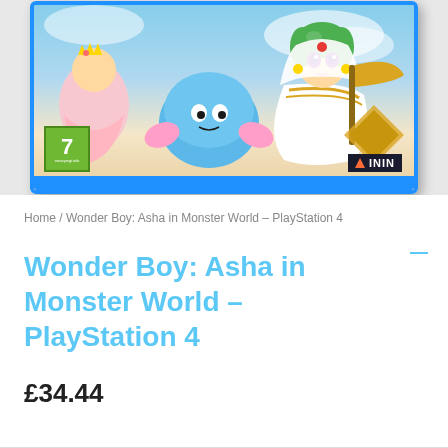[Figure (photo): Wonder Boy: Asha in Monster World PlayStation 4 game cover in a blue PS4 case. The cover shows anime-style characters including a girl with green hair wearing white robes and a blue round creature. PEGI 7 rating visible in bottom left, ININ publisher logo in bottom right.]
Home / Wonder Boy: Asha in Monster World – PlayStation 4
Wonder Boy: Asha in Monster World – PlayStation 4
£34.44